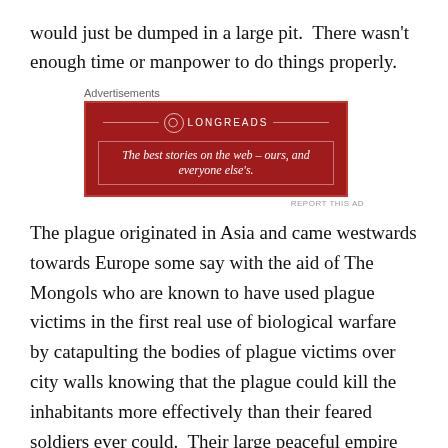would just be dumped in a large pit.  There wasn't enough time or manpower to do things properly.
[Figure (other): Longreads advertisement banner: red background with Longreads logo and tagline 'The best stories on the web – ours, and everyone else's.']
The plague originated in Asia and came westwards towards Europe some say with the aid of The Mongols who are known to have used plague victims in the first real use of biological warfare by catapulting the bodies of plague victims over city walls knowing that the plague could kill the inhabitants more effectively than their feared soldiers ever could.  Their large peaceful empire
[Figure (other): Victoria's Secret advertisement: pink gradient background with model photo, VS logo, 'SHOP THE COLLECTION' text and 'SHOP NOW' button.]